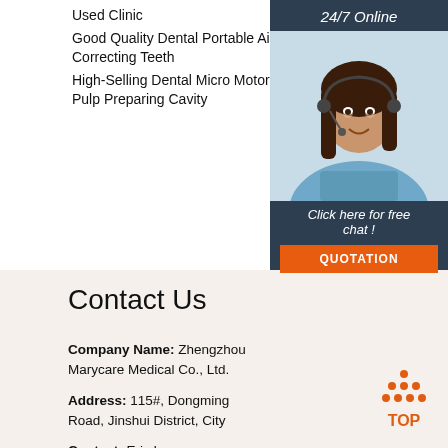Used Clinic
Good Quality Dental Portable Air Turbine Unit Correcting Teeth
High-Selling Dental Micro Motor Rpm Opening Pulp Preparing Cavity
[Figure (photo): Customer service representative with headset, with '24/7 Online' header, 'Click here for free chat!' text, and 'QUOTATION' button panel on the right side of the page]
Contact Us
Company Name: Zhengzhou Marycare Medical Co., Ltd.
Address: 115#, Dongming Road, Jinshui District, City
Contact: Eric Lu
Tel: +86-18834565182
Email: Zhangrenjiao@Cnabke.Com